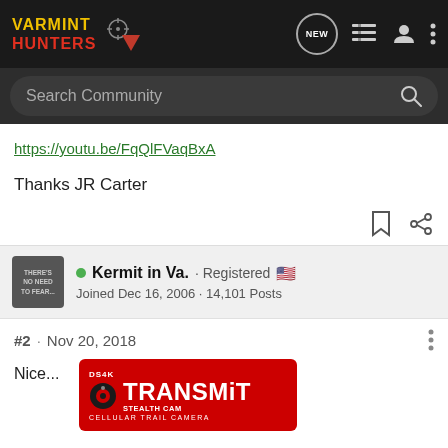VARMINT HUNTERS
Search Community
https://youtu.be/FqQlFVaqBxA
Thanks JR Carter
Kermit in Va. · Registered
Joined Dec 16, 2006 · 14,101 Posts
#2 · Nov 20, 2018
Nice...